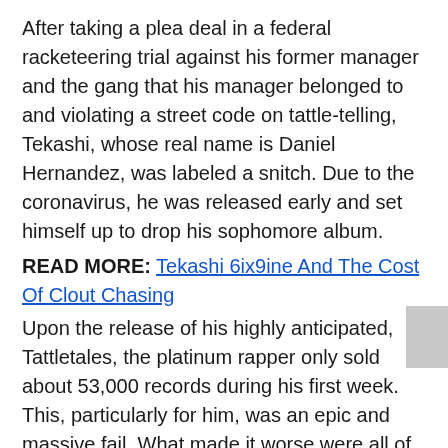After taking a plea deal in a federal racketeering trial against his former manager and the gang that his manager belonged to and violating a street code on tattle-telling, Tekashi, whose real name is Daniel Hernandez, was labeled a snitch. Due to the coronavirus, he was released early and set himself up to drop his sophomore album.
READ MORE: Tekashi 6ix9ine And The Cost Of Clout Chasing
Upon the release of his highly anticipated, Tattletales, the platinum rapper only sold about 53,000 records during his first week. This, particularly for him, was an epic and massive fail. What made it worse were all of the cumbersome behind the scene promotions that he tried to personally engage — to no avail. Both top rappers-turned-top podcasters Joe Budden and Gillie the King shared how the rapper reached out to them to promote his record.